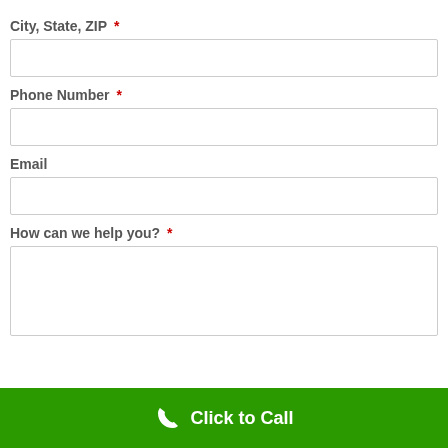City, State, ZIP *
Phone Number *
Email
How can we help you? *
Click to Call